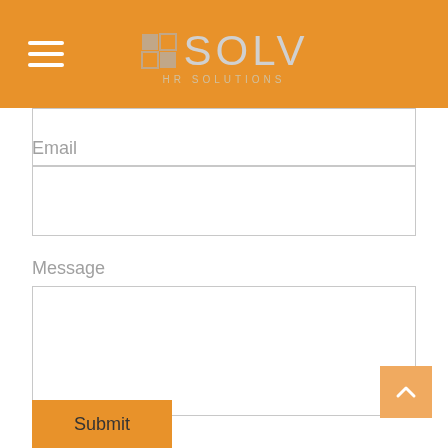[Figure (logo): SOLV HR Solutions logo with orange background header, hamburger menu icon on left, square logo mark and SOLV text with HR SOLUTIONS subtitle]
Email
Message
Submit